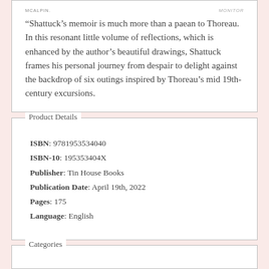MCALPIN.
MONITOR
“Shattuck’s memoir is much more than a paean to Thoreau. In this resonant little volume of reflections, which is enhanced by the author’s beautiful drawings, Shattuck frames his personal journey from despair to delight against the backdrop of six outings inspired by Thoreau’s mid 19th-century excursions.
Product Details
ISBN: 9781953534040
ISBN-10: 195353404X
Publisher: Tin House Books
Publication Date: April 19th, 2022
Pages: 175
Language: English
Categories